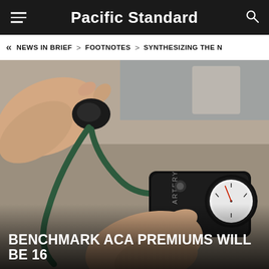Pacific Standard
« NEWS IN BRIEF > FOOTNOTES > SYNTHESIZING THE N…
[Figure (photo): Close-up photograph of a healthcare provider using a blood pressure cuff (sphygmomanometer) on a patient. The device is black with a circular analog gauge visible on the right. The word 'ARTERY' is printed on the cuff. Medical tubing is visible.]
BENCHMARK ACA PREMIUMS WILL BE 16